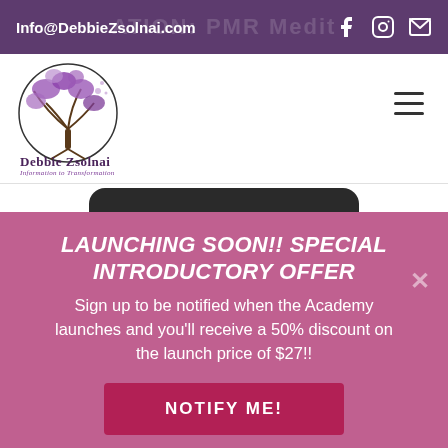Info@DebbieZsolnai.com
[Figure (logo): Debbie Zsolnai logo — circular tree illustration with text 'Debbie Zsolnai' and 'Information to Transformation']
LAUNCHING SOON!! SPECIAL INTRODUCTORY OFFER
Sign up to be notified when the Academy launches and you'll receive a 50% discount on the launch price of $27!!
NOTIFY ME!